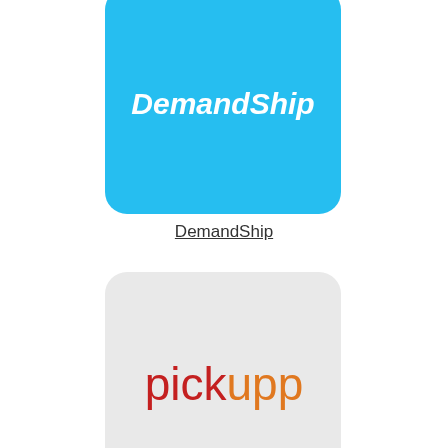[Figure (logo): DemandShip logo - white bold italic text on cyan/light blue rounded square background]
DemandShip
[Figure (logo): Pickupp logo - 'pick' in dark red and 'upp' in orange text on light gray rounded square background]
Pickupp
[Figure (logo): Mainfreight logo - stylized M shape in red and blue on light gray rounded square background]
Mainfreight
[Figure (logo): Partial logo - orange rounded square background, partially visible at bottom of page]